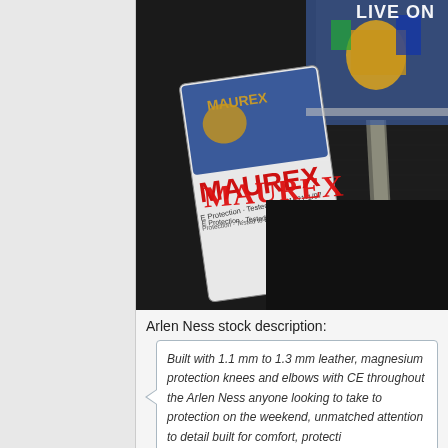[Figure (photo): Product photo showing Maurex motorcycle protective gear — a jacket or pants with a label reading 'MAUREX' in red letters, 'E Protection - Tested to EN1621-1/97', and 'LIVE ON' text visible in background. Items are black textile/mesh material with armor protection.]
Arlen Ness stock description:
Built with 1.1 mm to 1.3 mm leather, magnesium protection knees and elbows with CE throughout the Arlen Ness anyone looking to take to protection on the weekend, unmatched attention to detail built for comfort, protecti